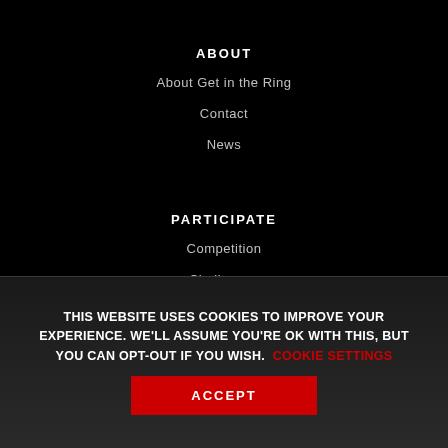ABOUT
About Get in the Ring
Contact
News
PARTICIPATE
Competition
Challenges
FAQ
THIS WEBSITE USES COOKIES TO IMPROVE YOUR EXPERIENCE. WE'LL ASSUME YOU'RE OK WITH THIS, BUT YOU CAN OPT-OUT IF YOU WISH. COOKIE SETTINGS
ACCEPT